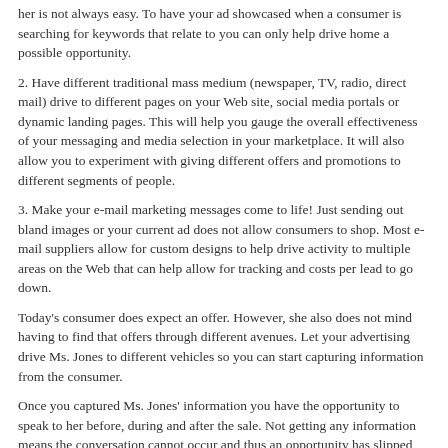her is not always easy. To have your ad showcased when a consumer is searching for keywords that relate to you can only help drive home a possible opportunity.
2. Have different traditional mass medium (newspaper, TV, radio, direct mail) drive to different pages on your Web site, social media portals or dynamic landing pages. This will help you gauge the overall effectiveness of your messaging and media selection in your marketplace. It will also allow you to experiment with giving different offers and promotions to different segments of people.
3. Make your e-mail marketing messages come to life! Just sending out bland images or your current ad does not allow consumers to shop. Most e-mail suppliers allow for custom designs to help drive activity to multiple areas on the Web that can help allow for tracking and costs per lead to go down.
Today’s consumer does expect an offer. However, she also does not mind having to find that offers through different avenues. Let your advertising drive Ms. Jones to different vehicles so you can start capturing information from the consumer.
Once you captured Ms. Jones’ information you have the opportunity to speak to her before, during and after the sale. Not getting any information means the conversation cannot occur and thus an opportunity has slipped through your fingers.
[Figure (infographic): Social sharing buttons row: ShareThis (green), Facebook (blue), Tweet (light blue), LinkedIn (blue), Pinterest (red), and Email (gray) buttons]